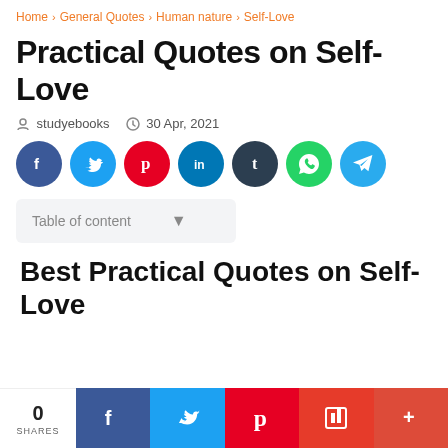Home > General Quotes > Human nature > Self-Love
Practical Quotes on Self-Love
studyebooks   30 Apr, 2021
[Figure (infographic): Social share buttons: Facebook (blue), Twitter (light blue), Pinterest (red), LinkedIn (dark blue), Tumblr (dark navy), WhatsApp (green), Telegram (light blue)]
Table of content
Best Practical Quotes on Self-Love
0 SHARES | Facebook | Twitter | Pinterest | Flipboard | +